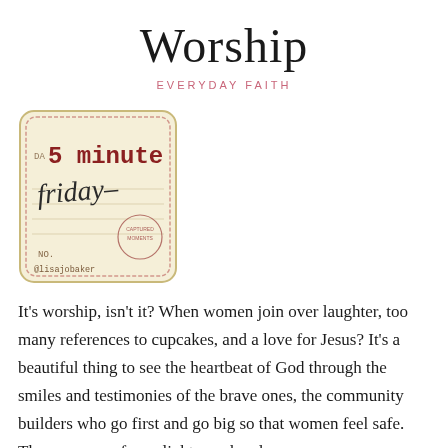Worship
EVERYDAY FAITH
[Figure (photo): Vintage-style notepad card reading '5 minute Friday' with handwritten 'Friday' script and @lisajobaker stamp]
It's worship, isn't it? When women join over laughter, too many references to cupcakes, and a love for Jesus? It's a beautiful thing to see the heartbeat of God through the smiles and testimonies of the brave ones, the community builders who go first and go big so that women feel safe. There were no fancy lights, no hands